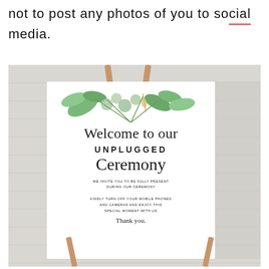not to post any photos of you to social media.
[Figure (photo): Photo of an unplugged ceremony wedding sign on a wooden easel. The sign reads: 'Welcome to our UNPLUGGED Ceremony. WE INVITE YOU TO BE FULLY PRESENT DURING OUR CEREMONY. KINDLY TURN OFF YOUR MOBILE PHONES AND CAMERAS AND ENJOY THIS SPECIAL MOMENT WITH US. Thank you.' The sign has greenery/botanical decoration at the top.]